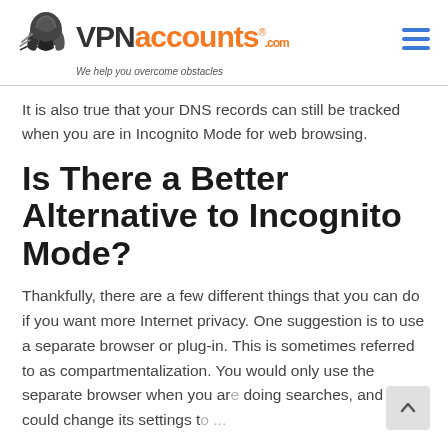VPNaccounts.com – We help you overcome obstacles
It is also true that your DNS records can still be tracked when you are in Incognito Mode for web browsing.
Is There a Better Alternative to Incognito Mode?
Thankfully, there are a few different things that you can do if you want more Internet privacy. One suggestion is to use a separate browser or plug-in. This is sometimes referred to as compartmentalization. You would only use the separate browser when you are doing searches, and you could change its settings to...